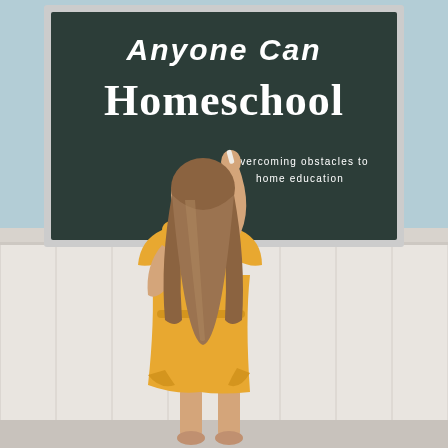[Figure (photo): Book cover showing a young girl in a yellow dress writing on a large chalkboard, viewed from behind. The background shows a light blue wall with white wainscoting. The chalkboard has text reading 'Anyone Can Homeschool' and subtitle 'Overcoming obstacles to home education'.]
Anyone Can Homeschool
Overcoming obstacles to home education